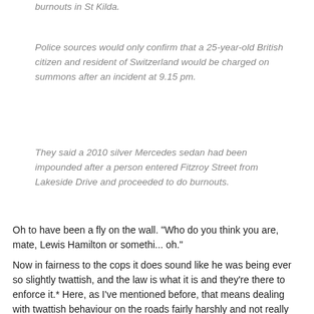burnouts in St Kilda.
Police sources would only confirm that a 25-year-old British citizen and resident of Switzerland would be charged on summons after an incident at 9.15 pm.
They said a 2010 silver Mercedes sedan had been impounded after a person entered Fitzroy Street from Lakeside Drive and proceeded to do burnouts.
Oh to have been a fly on the wall. "Who do you think you are, mate, Lewis Hamilton or somethi... oh."
Now in fairness to the cops it does sound like he was being ever so slightly twattish, and the law is what it is and they're there to enforce it.* Here, as I've mentioned before, that means dealing with twattish behaviour on the roads fairly harshly and not really giving a shit about impounding a car belonging to an innocent party. So what we have here is a police service tarred by recent accusations of racism impounding a flash car driven by a young black male who